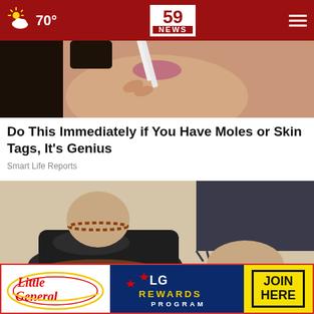59 NEWS — 70° weather
[Figure (photo): Close-up of a woman's lower face and hand holding a white cosmetic tool near her chin]
Do This Immediately if You Have Moles or Skin Tags, It's Genius
Smart Life Reports
[Figure (photo): Close-up of a woman's feet wearing dark sandals with anklet bracelets]
[Figure (logo): Little General and LG Rewards Program advertisement banner with JOIN HERE button]